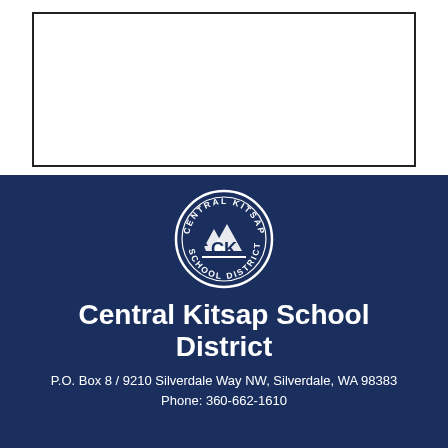[Figure (other): Empty white bordered box in the upper portion of the page]
[Figure (logo): Central Kitsap School District circular logo in white on dark navy background, showing trees, mountains, and the letters CK with text CENTRAL KITSAP SCHOOL DISTRICT around the border]
Central Kitsap School District
P.O. Box 8 / 9210 Silverdale Way NW, Silverdale, WA 98383
Phone: 360-662-1610